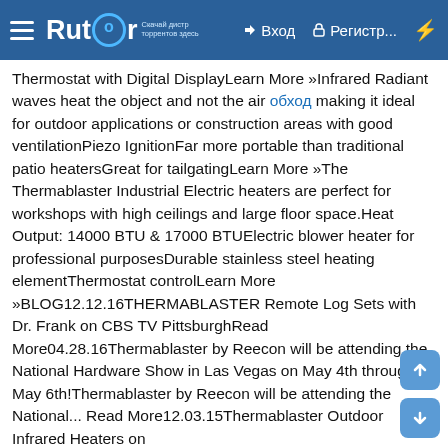Rutor — navigation header with hamburger menu, logo, Вход (login), Регистр... (register), and lightning icon
Thermostat with Digital DisplayLearn More »Infrared Radiant waves heat the object and not the air обход making it ideal for outdoor applications or construction areas with good ventilationPiezo IgnitionFar more portable than traditional patio heatersGreat for tailgatingLearn More »The Thermablaster Industrial Electric heaters are perfect for workshops with high ceilings and large floor space.Heat Output: 14000 BTU & 17000 BTUElectric blower heater for professional purposesDurable stainless steel heating elementThermostat controlLearn More »BLOG12.12.16THERMABLASTER Remote Log Sets with Dr. Frank on CBS TV PittsburghRead More04.28.16Thermablaster by Reecon will be attending the National Hardware Show in Las Vegas on May 4th through May 6th!Thermablaster by Reecon will be attending the National... Read More12.03.15Thermablaster Outdoor Infrared Heaters on GroupOn!https://www.groupon.com/deals/gg-thermablaster-outdoor-infrared-heaters Thermablaster Outdoor Infrared Heaters are now available... Read More